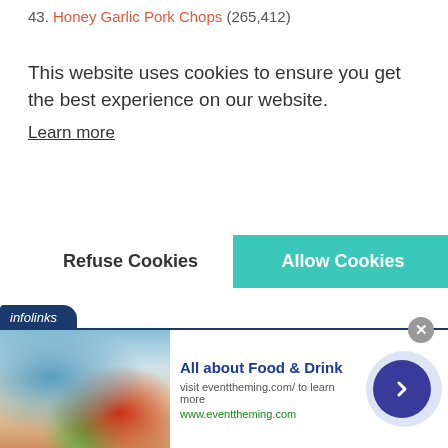43. Honey Garlic Pork Chops (265,412)
This website uses cookies to ensure you get the best experience on our website.
Learn more
Refuse Cookies
Allow Cookies
[Figure (screenshot): Infolinks advertisement banner at bottom of page showing 'All about Food & Drink' ad with food image, text 'visit eventtheming.com/ to learn more', URL 'www.eventtheming.com', and a navigation arrow button]